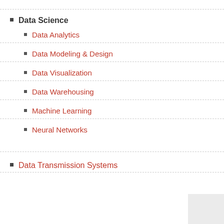Data Science
Data Analytics
Data Modeling & Design
Data Visualization
Data Warehousing
Machine Learning
Neural Networks
Data Transmission Systems